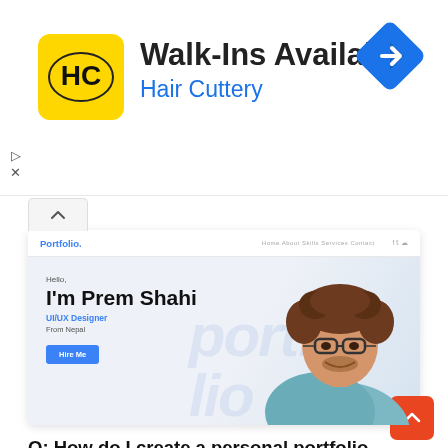[Figure (other): Hair Cuttery advertisement banner with logo, 'Walk-Ins Available' headline, and navigation icon]
[Figure (screenshot): Screenshot of a personal portfolio website for Prem Shahi, UI/UX Designer from Nepal, showing navigation bar, hero section with name, role, 'Hire Me' button, and a photo of a curly-haired man with glasses]
Q: How do I create a personal portfolio website using HTML CSS, and JavaScript?
A: After reading and watching the following articles you will definitely able to Create a Complete Responsive Personal Portfolio